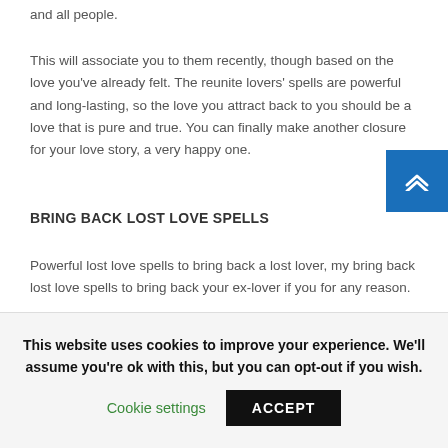and all people.
This will associate you to them recently, though based on the love you've already felt. The reunite lovers' spells are powerful and long-lasting, so the love you attract back to you should be a love that is pure and true. You can finally make another closure for your love story, a very happy one.
BRING BACK LOST LOVE SPELLS
Powerful lost love spells to bring back a lost lover, my bring back lost love spells to bring back your ex-lover if you for any reason.
This website uses cookies to improve your experience. We'll assume you're ok with this, but you can opt-out if you wish.
Cookie settings  ACCEPT